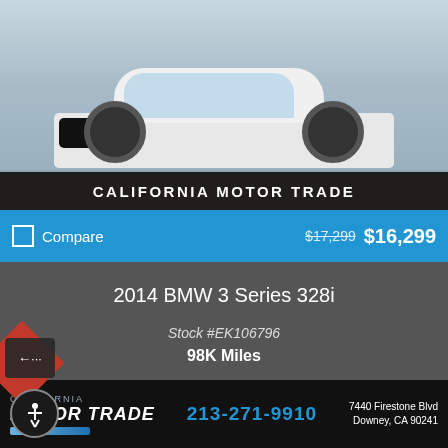[Figure (photo): Front view of a white 2014 BMW 3 Series 328i parked in a lot, with CALIFORNIA MOTOR TRADE overlay text at bottom of image]
CALIFORNIA MOTOR TRADE
Compare  $17,299  $16,299
2014 BMW 3 Series 328i
Stock #EK106796
98K Miles
California Motor Trade  213-271-9910  7440 Firestone Blvd  Downey, CA 90241